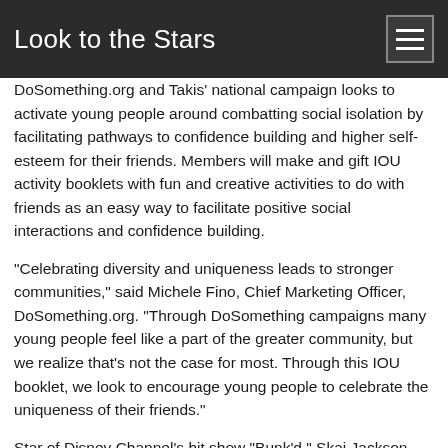Look to the Stars
DoSomething.org and Takis' national campaign looks to activate young people around combatting social isolation by facilitating pathways to confidence building and higher self-esteem for their friends. Members will make and gift IOU activity booklets with fun and creative activities to do with friends as an easy way to facilitate positive social interactions and confidence building.
“Celebrating diversity and uniqueness leads to stronger communities,” said Michele Fino, Chief Marketing Officer, DoSomething.org. “Through DoSomething campaigns many young people feel like a part of the greater community, but we realize that’s not the case for most. Through this IOU booklet, we look to encourage young people to celebrate the uniqueness of their friends.”
Star of Disney Channel’s hit show “Bunk’d,” Skai Jackson has joined the campaign by recording a PSA encouraging other young people to participate in the campaign and highlighting ways that she will treat her friends.
“Takis is proud to partner with DoSomething,” said Angela Manor, Marketing Manager at Barcel USA. “This program gets young